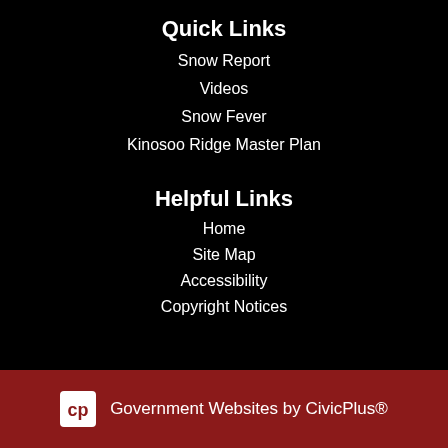Quick Links
Snow Report
Videos
Snow Fever
Kinosoo Ridge Master Plan
Helpful Links
Home
Site Map
Accessibility
Copyright Notices
Government Websites by CivicPlus®